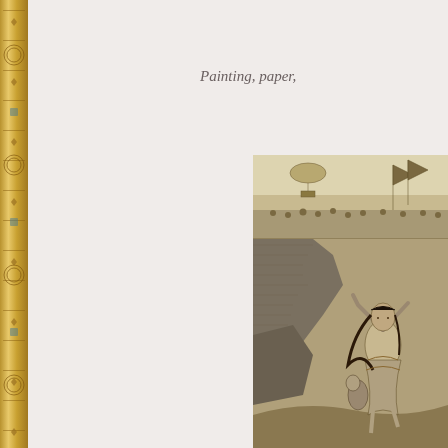[Figure (illustration): Book spine with ornamental gold pattern and decorative design running vertically along the left edge]
Painting, paper,
[Figure (illustration): Black and white engraving showing a female dancer or figure in classical costume with long dark hair, arms raised, standing on rocky terrain. In the background there is a crowd scene with ships or banners visible at the top.]